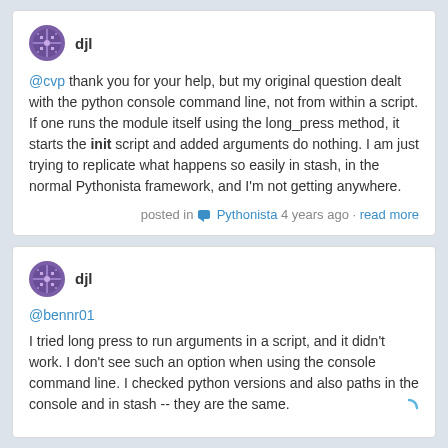djl
@cvp thank you for your help, but my original question dealt with the python console command line, not from within a script. If one runs the module itself using the long_press method, it starts the init script and added arguments do nothing. I am just trying to replicate what happens so easily in stash, in the normal Pythonista framework, and I'm not getting anywhere.
posted in Pythonista 4 years ago • read more
djl
@bennr01
I tried long press to run arguments in a script, and it didn't work. I don't see such an option when using the console command line. I checked python versions and also paths in the console and in stash -- they are the same.